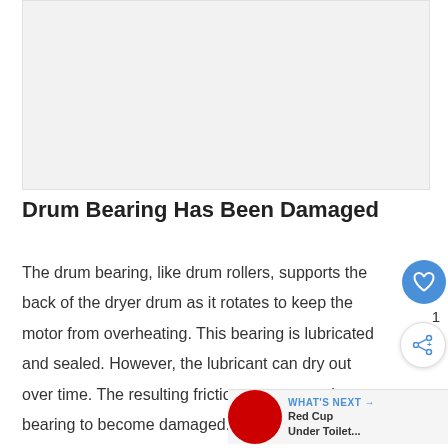[Figure (photo): Placeholder image area, light gray background, appears to be a dryer drum bearing photo area]
Drum Bearing Has Been Damaged
The drum bearing, like drum rollers, supports the back of the dryer drum as it rotates to keep the motor from overheating. This bearing is lubricated and sealed. However, the lubricant can dry out over time. The resulting friction may cause the bearing to become damaged.